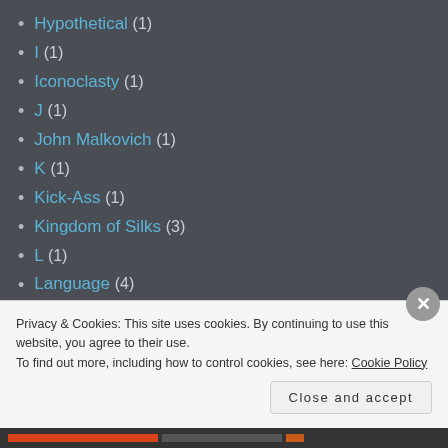Hypothetical (1)
I (1)
Iconoclasty (1)
J (1)
John Malkovich (1)
K (1)
Kick-Ass (1)
Kingdom of Silks (3)
L (1)
Language (4)
Li (1)
LJ Classic (1)
Lockout (1)
Privacy & Cookies: This site uses cookies. By continuing to use this website, you agree to their use.
To find out more, including how to control cookies, see here: Cookie Policy
Close and accept